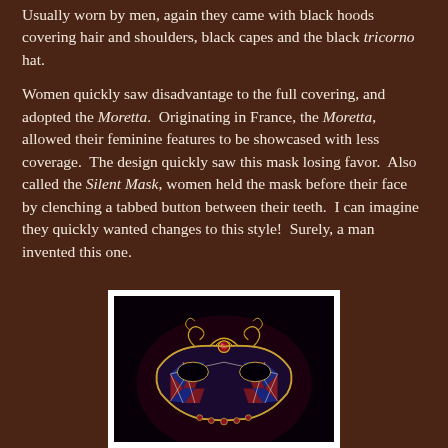Usually worn by men, again they came with black hoods covering hair and shoulders, black capes and the black tricorno hat.

Women quickly saw disadvantage to the full covering, and adopted the Moretta.  Originating in France, the Moretta, allowed their feminine features to be showcased with less coverage.  The design quickly saw this mask losing favor.  Also called the Silent Mask, women held the mask before their face by clenching a tabbed button between their teeth.  I can imagine they quickly wanted changes to this style!  Surely, a man invented this one.
[Figure (photo): A Venetian masquerade mask — decorative half-mask with gold scrollwork filigree at the top, a red jewel centerpiece, diamond/harlequin pattern of red and blue sections with white lattice, set against a black background, shot in low-key lighting.]